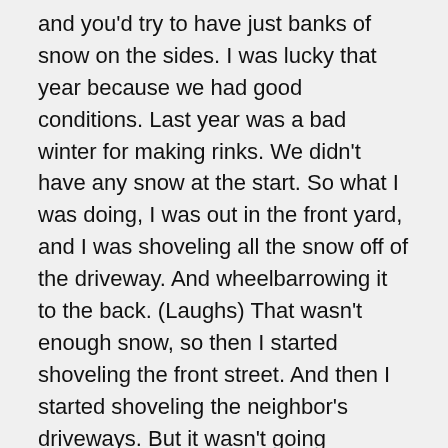and you'd try to have just banks of snow on the sides. I was lucky that year because we had good conditions. Last year was a bad winter for making rinks. We didn't have any snow at the start. So what I was doing, I was out in the front yard, and I was shoveling all the snow off of the driveway. And wheelbarrowing it to the back. (Laughs) That wasn't enough snow, so then I started shoveling the front street. And then I started shoveling the neighbor's driveways. But it wasn't going anywhere. And so I finally broke down and started to introduce technology.
WOMAN: Jiffy Rink, priced $24.99. Instant skating rink the size of approximately ten feet by 20 feet. It's a big bag. And you fill it up with water, and then after it freezes over, after 24 hours it freezes over, there's that top piece you pull off. You just pull it right off and there you go